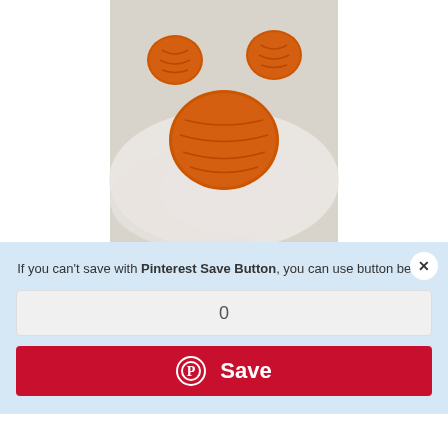[Figure (photo): Orange crocheted cat paw on white fluffy background]
If you can't save with Pinterest Save Button, you can use button below
[Figure (screenshot): Save count box showing 0]
[Figure (screenshot): Red Pinterest Save button]
Annie
[Figure (screenshot): Save count 0 and red Pinterest Save button widget]
[Figure (photo): Orange crocheted item on stone background]